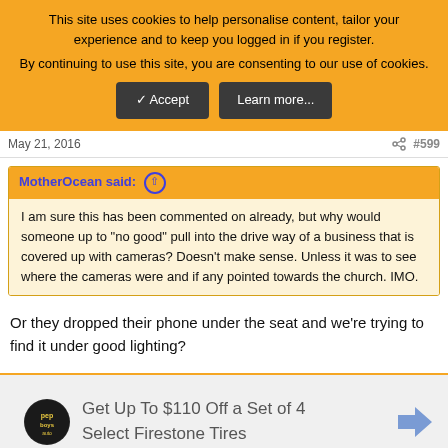This site uses cookies to help personalise content, tailor your experience and to keep you logged in if you register. By continuing to use this site, you are consenting to our use of cookies.
✓ Accept | Learn more...
May 21, 2016   #599
MotherOcean said: ↑
I am sure this has been commented on already, but why would someone up to "no good" pull into the drive way of a business that is covered up with cameras? Doesn't make sense. Unless it was to see where the cameras were and if any pointed towards the church. IMO.
Or they dropped their phone under the seat and we're trying to find it under good lighting?
[Figure (screenshot): Advertisement: Get Up To $110 Off a Set of 4 Select Firestone Tires with Pep Boys logo and arrow icon]